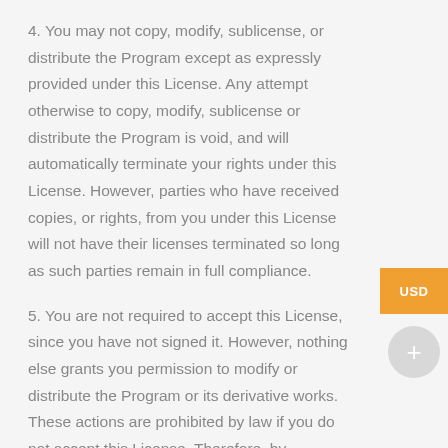4. You may not copy, modify, sublicense, or distribute the Program except as expressly provided under this License. Any attempt otherwise to copy, modify, sublicense or distribute the Program is void, and will automatically terminate your rights under this License. However, parties who have received copies, or rights, from you under this License will not have their licenses terminated so long as such parties remain in full compliance.
5. You are not required to accept this License, since you have not signed it. However, nothing else grants you permission to modify or distribute the Program or its derivative works. These actions are prohibited by law if you do not accept this License. Therefore, by